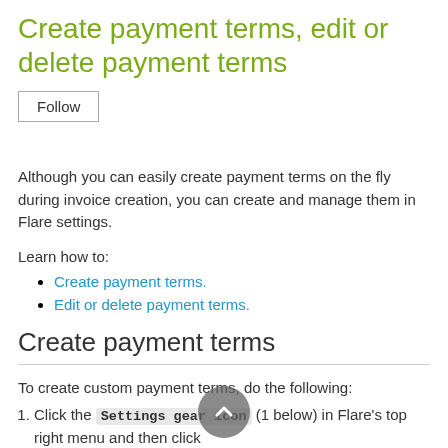Create payment terms, edit or delete payment terms
Follow
Although you can easily create payment terms on the fly during invoice creation, you can create and manage them in Flare settings.
Learn how to:
Create payment terms.
Edit or delete payment terms.
Create payment terms
To create custom payment terms, do the following:
Click the Settings gear icon (1 below) in Flare's top right menu and then click